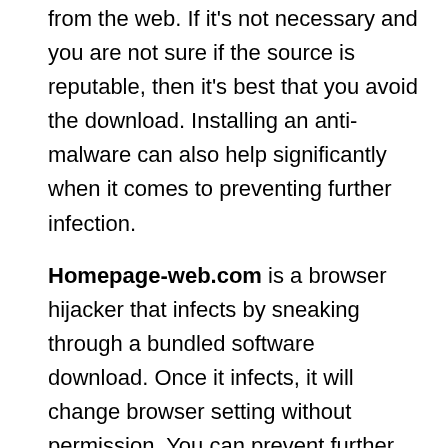from the web. If it's not necessary and you are not sure if the source is reputable, then it's best that you avoid the download. Installing an anti-malware can also help significantly when it comes to preventing further infection.
Homepage-web.com is a browser hijacker that infects by sneaking through a bundled software download. Once it infects, it will change browser setting without permission. You can prevent further infection by being cautious what you download. Easiest removal is done through installing a good